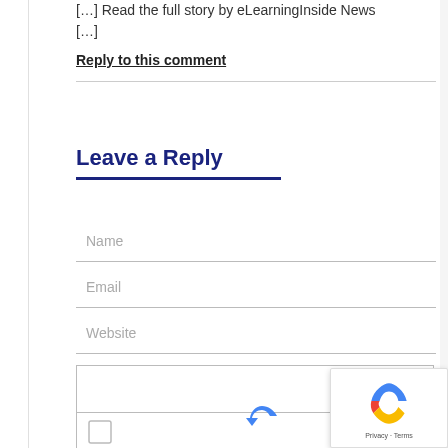[…] Read the full story by eLearningInside News […]
Reply to this comment
Leave a Reply
Name
Email
Website